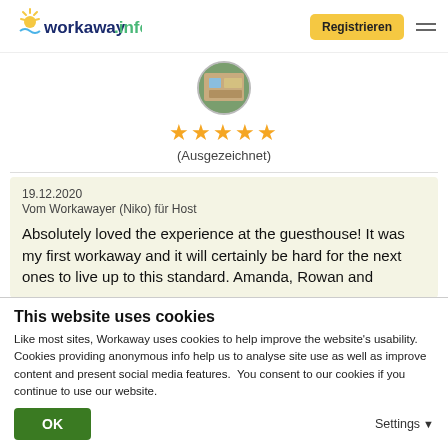workaway.info — Registrieren
[Figure (photo): Circular avatar photo of a workaway host/profile]
★★★★★ (Ausgezeichnet)
19.12.2020
Vom Workawayer (Niko) für Host
Absolutely loved the experience at the guesthouse! It was my first workaway and it will certainly be hard for the next ones to live up to this standard. Amanda, Rowan and
This website uses cookies
Like most sites, Workaway uses cookies to help improve the website's usability. Cookies providing anonymous info help us to analyse site use as well as improve content and present social media features.  You consent to our cookies if you continue to use our website.
OK
Settings